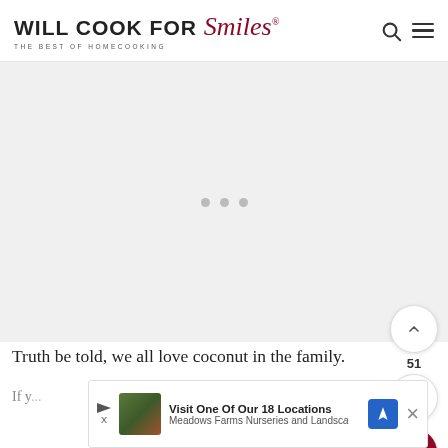WILL COOK FOR Smiles® — THE BEST OF HOMECOOKING
[Figure (photo): Large image placeholder area with loading dots (three gray circles), indicating an image is loading. Gray background rectangle.]
Truth be told, we all love coconut in the family.
If y... ch...
[Figure (infographic): Advertisement bar: Visit One Of Our 18 Locations — Meadows Farms Nurseries and Landscape]